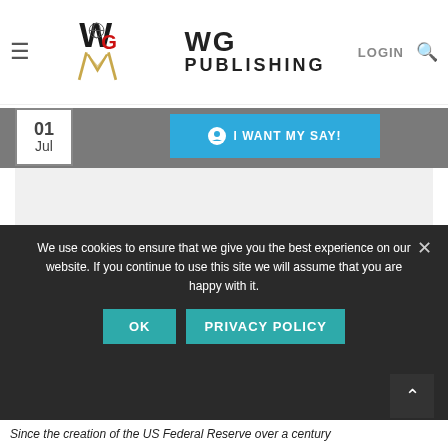[Figure (logo): WG Publishing logo with masonic square and compass symbol, W in black with globe, G in red, gold chevron, text WG PUBLISHING]
LOGIN
01 Jul
I WANT MY SAY!
We use cookies to ensure that we give you the best experience on our website. If you continue to use this site we will assume that you are happy with it.
OK
PRIVACY POLICY
Since the creation of the US Federal Reserve over a century